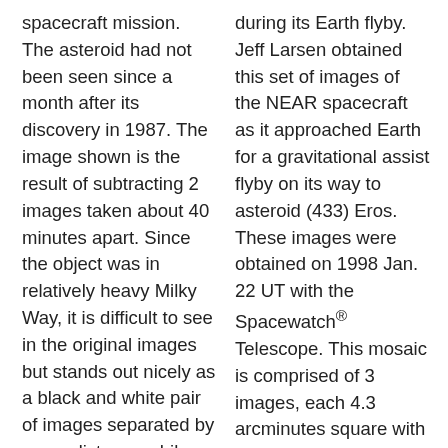spacecraft mission. The asteroid had not been seen since a month after its discovery in 1987. The image shown is the result of subtracting 2 images taken about 40 minutes apart. Since the object was in relatively heavy Milky Way, it is difficult to see in the original images but stands out nicely as a black and white pair of images separated by some distance while field stars appear as black/white images that are involved with one another. 1987 OA moved about twice the distance that a Main Belt
during its Earth flyby. Jeff Larsen obtained this set of images of the NEAR spacecraft as it approached Earth for a gravitational assist flyby on its way to asteroid (433) Eros. These images were obtained on 1998 Jan. 22 UT with the Spacewatch® Telescope. This mosaic is comprised of 3 images, each 4.3 arcminutes square with north at right, west at bottom. You can see the faint trailed images of NEAR at the center of each of the 3 images that make up the mosaic. The images were obtained on 1998 Jan. 22 between 09:22